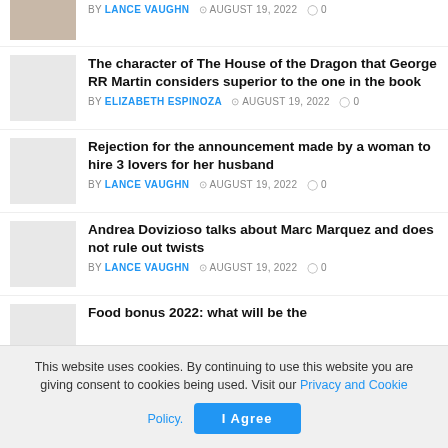BY LANCE VAUGHN  AUGUST 19, 2022  0
The character of The House of the Dragon that George RR Martin considers superior to the one in the book — BY ELIZABETH ESPINOZA  AUGUST 19, 2022  0
Rejection for the announcement made by a woman to hire 3 lovers for her husband — BY LANCE VAUGHN  AUGUST 19, 2022  0
Andrea Dovizioso talks about Marc Marquez and does not rule out twists — BY LANCE VAUGHN  AUGUST 19, 2022  0
Food bonus 2022: what will be the
This website uses cookies. By continuing to use this website you are giving consent to cookies being used. Visit our Privacy and Cookie Policy.